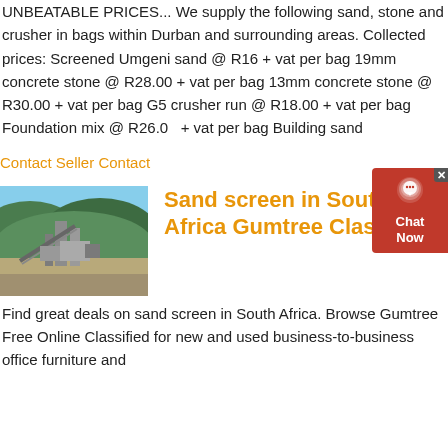UNBEATABLE PRICES... We supply the following sand, stone and crusher in bags within Durban and surrounding areas. Collected prices: Screened Umgeni sand @ R16 + vat per bag 19mm concrete stone @ R28.00 + vat per bag 13mm concrete stone @ R30.00 + vat per bag G5 crusher run @ R18.00 + vat per bag Foundation mix @ R26.00 + vat per bag Building sand
Contact Seller Contact
[Figure (photo): Outdoor photo of an industrial quarry or stone crushing facility with green hills in the background]
Sand screen in South Africa Gumtree Classifieds
Find great deals on sand screen in South Africa. Browse Gumtree Free Online Classified for new and used business-to-business office furniture and